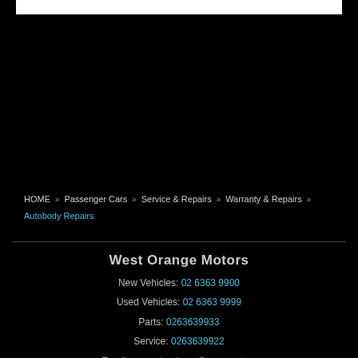HOME » Passenger Cars » Service & Repairs » Warranty & Repairs » Autobody Repairs
West Orange Motors
New Vehicles: 02 6363 9900
Used Vehicles: 02 6363 9999
Parts: 0263639933
Service: 0263639922
Email: mercedes-benz@wom.net.au